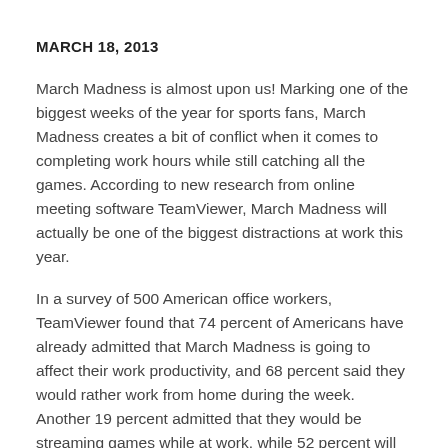MARCH 18, 2013
March Madness is almost upon us! Marking one of the biggest weeks of the year for sports fans, March Madness creates a bit of conflict when it comes to completing work hours while still catching all the games. According to new research from online meeting software TeamViewer, March Madness will actually be one of the biggest distractions at work this year.
In a survey of 500 American office workers, TeamViewer found that 74 percent of Americans have already admitted that March Madness is going to affect their work productivity, and 68 percent said they would rather work from home during the week. Another 19 percent admitted that they would be streaming games while at work, while 52 percent will be reading sports news, 37 percent will be using their mobile devices to keep track of games, and 21 percent